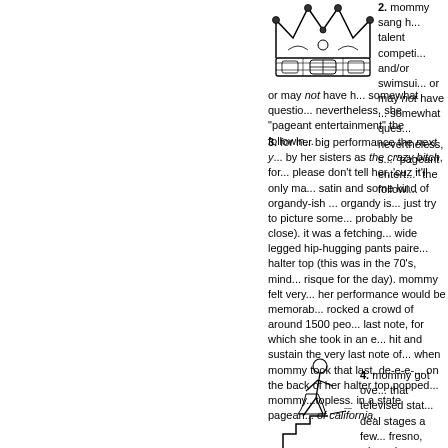2. mommy sang her talent competition and/or swimsuit p... or may not have h... somewhat questio... nevertheless, she "pageant entertainment" the followin...
[Figure (illustration): A decorative crown illustration, black line art]
3. for her big performance the next y... by her sisters as the crazy bitch, for... please don't tell her, 'cuz it'll only ma... satin and some kind of organdy-ish... organdy is... just try to picture some... probably be close). it was a fetching... wide legged hip-hugging pants paire... halter top (this was in the 70's, mind... risque for the day). mommy felt very... her performance would be memorab... rocked a crowd of around 1500 peo... last note, for which she took in an e... hit and sustain the very last note of... when mommy took that last, de-e-e-... on the back of her halter top popped... mommy...topless. in a state pagean... of california.
[Figure (illustration): A stick figure illustration of a person walking down stairs]
4. mommy got ove... that televised stat... deal stages a few... fresno, when she... number, she plan...